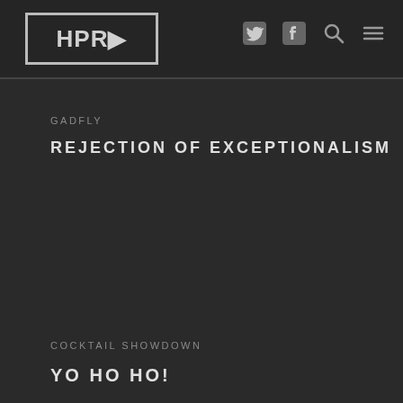HPR
GADFLY
REJECTION OF EXCEPTIONALISM
COCKTAIL SHOWDOWN
YO HO HO!